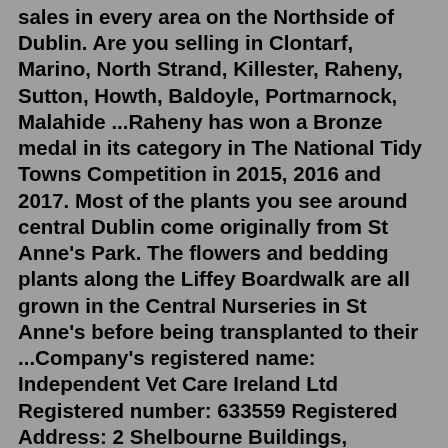sales in every area on the Northside of Dublin. Are you selling in Clontarf, Marino, North Strand, Killester, Raheny, Sutton, Howth, Baldoyle, Portmarnock, Malahide ...Raheny has won a Bronze medal in its category in The National Tidy Towns Competition in 2015, 2016 and 2017. Most of the plants you see around central Dublin come originally from St Anne's Park. The flowers and bedding plants along the Liffey Boardwalk are all grown in the Central Nurseries in St Anne's before being transplanted to their ...Company's registered name: Independent Vet Care Ireland Ltd Registered number: 633559 Registered Address: 2 Shelbourne Buildings, Crampton Avenue, Shelbourne Road, Ballsbridge, Dublin 4, D04 W3V6This property is Sale Agreed. Gallagher Quigley 27/28 Marino Mart Fairview Dublin 3 . Contact Name: Rory Gallagher . PSR Licence Number: 002278 ... Dublin 5 is priced as: €675,000 and has 4 Bedrooms, 2 Bathrooms. View all properties for sale in Raheny, Dublin 5. View